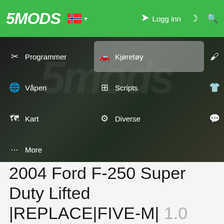[Figure (screenshot): 5MODS website navigation bar with green background, logo, Norwegian flag, login button, dark/night mode icon, and search icon]
[Figure (screenshot): 5MODS website dropdown navigation menu showing categories: Programmer, Kjøretøy (highlighted), Paint Jobs, Våpen, Scripts, Spiller, Kart, Diverse, Forum, More, over a dark blurred background]
2004 Ford F-250 Super Duty Lifted |REPLACE|FIVE-M| 1.0